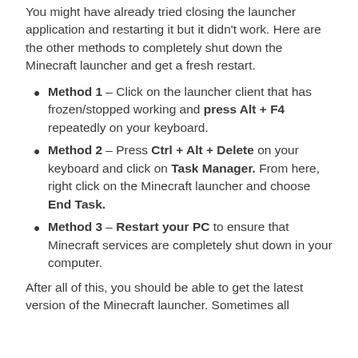You might have already tried closing the launcher application and restarting it but it didn't work. Here are the other methods to completely shut down the Minecraft launcher and get a fresh restart.
Method 1 – Click on the launcher client that has frozen/stopped working and press Alt + F4 repeatedly on your keyboard.
Method 2 – Press Ctrl + Alt + Delete on your keyboard and click on Task Manager. From here, right click on the Minecraft launcher and choose End Task.
Method 3 – Restart your PC to ensure that Minecraft services are completely shut down in your computer.
After all of this, you should be able to get the latest version of the Minecraft launcher. Sometimes all...